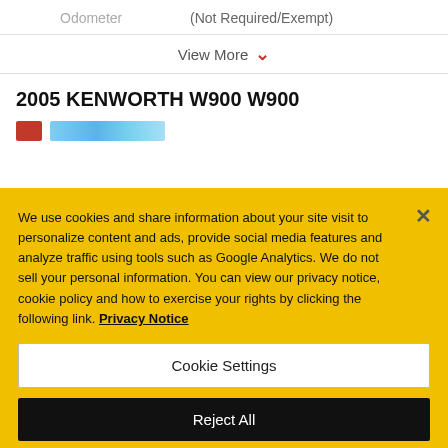Odometer    (Not Required/Exempt)
View More ▾
2005 KENWORTH W900 W900
We use cookies and share information about your site visit to personalize content and ads, provide social media features and analyze traffic using tools such as Google Analytics. We do not sell your personal information. You can view our privacy notice, cookie policy and how to exercise your rights by clicking the following link. Privacy Notice
Cookie Settings
Reject All
Accept Cookies